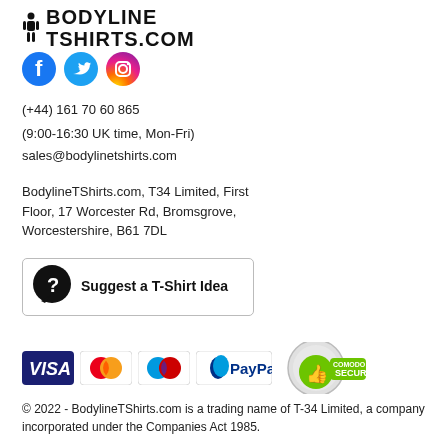[Figure (logo): BodylineTShirts.com logo with silhouette figure and bold text]
[Figure (infographic): Social media icons: Facebook (blue circle with f), Twitter (blue circle with bird), Instagram (gradient circle with camera)]
(+44) 161 70 60 865
(9:00-16:30 UK time, Mon-Fri)
sales@bodylinetshirts.com
BodylineTShirts.com, T34 Limited, First Floor, 17 Worcester Rd, Bromsgrove, Worcestershire, B61 7DL
[Figure (infographic): Suggest a T-Shirt Idea button with speech bubble question mark icon]
[Figure (infographic): Payment icons: VISA, Mastercard, Maestro, PayPal, Comodo Secure badge]
© 2022 - BodylineTShirts.com is a trading name of T-34 Limited, a company incorporated under the Companies Act 1985.